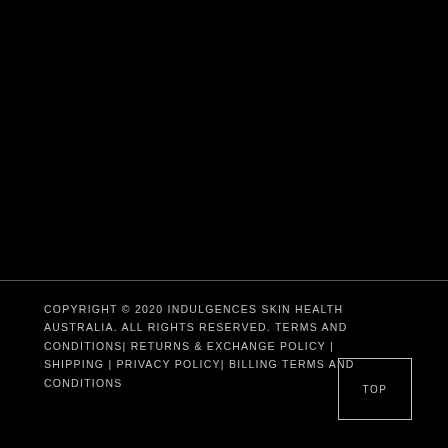COPYRIGHT © 2020 INDULGENCES SKIN HEALTH AUSTRALIA. ALL RIGHTS RESERVED. TERMS AND CONDITIONS| RETURNS & EXCHANGE POLICY | SHIPPING | PRIVACY POLICY| BILLING TERMS AND CONDITIONS